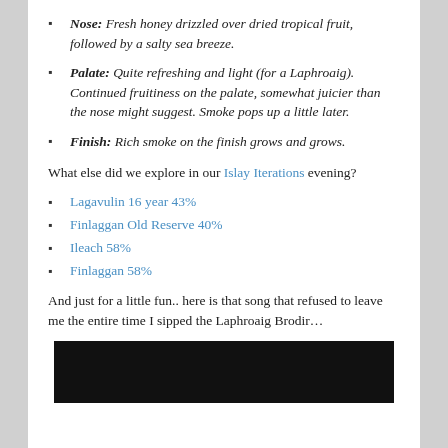Nose: Fresh honey drizzled over dried tropical fruit, followed by a salty sea breeze.
Palate: Quite refreshing and light (for a Laphroaig). Continued fruitiness on the palate, somewhat juicier than the nose might suggest. Smoke pops up a little later.
Finish: Rich smoke on the finish grows and grows.
What else did we explore in our Islay Iterations evening?
Lagavulin 16 year 43%
Finlaggan Old Reserve 40%
Ileach 58%
Finlaggan 58%
And just for a little fun.. here is that song that refused to leave me the entire time I sipped the Laphroaig Brodir…
[Figure (screenshot): Black video thumbnail at the bottom of the page]